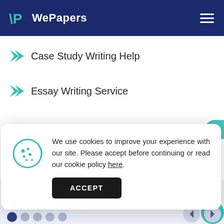WePapers
Case Study Writing Help
Essay Writing Service
We use cookies to improve your experience with our site. Please accept before continuing or read our cookie policy here.
Related Essays